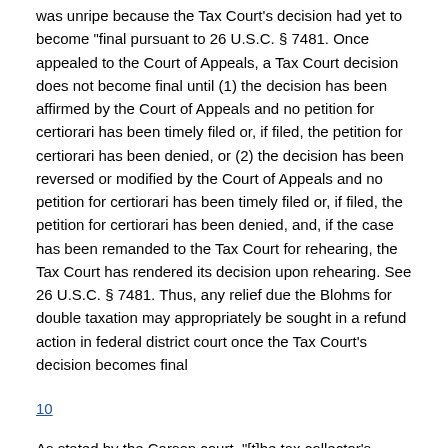was unripe because the Tax Court's decision had yet to become "final pursuant to 26 U.S.C. § 7481. Once appealed to the Court of Appeals, a Tax Court decision does not become final until (1) the decision has been affirmed by the Court of Appeals and no petition for certiorari has been timely filed or, if filed, the petition for certiorari has been denied, or (2) the decision has been reversed or modified by the Court of Appeals and no petition for certiorari has been timely filed or, if filed, the petition for certiorari has been denied, and, if the case has been remanded to the Tax Court for rehearing, the Tax Court has rendered its decision upon rehearing. See 26 U.S.C. § 7481. Thus, any relief due the Blohms for double taxation may appropriately be sought in a refund action in federal district court once the Tax Court's decision becomes final
10
As stated by the Carson court, "[t]he tax collector's presumption of correctness has a herculean muscularity of Goliathlike reach, but we strike an Achilles' heel when we find no muscles, no tendons, no ligaments of fact." 560 F.2d at 696
11
Under a plea of nolo contendere, a defendant does not expressly admit